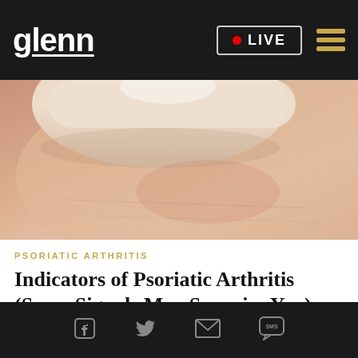glenn | LIVE
[Figure (photo): Close-up of a finger pressing on skin, showing reddened/inflamed skin area, relevant to psoriatic arthritis]
PSORIATIC ARTHRITIS
Indicators of Psoriatic Arthritis (Some Signals May Surprise You)
[Figure (photo): Urban street scene with old buildings, partially visible at bottom of page]
Social icons: Facebook, Twitter, Email, SMS